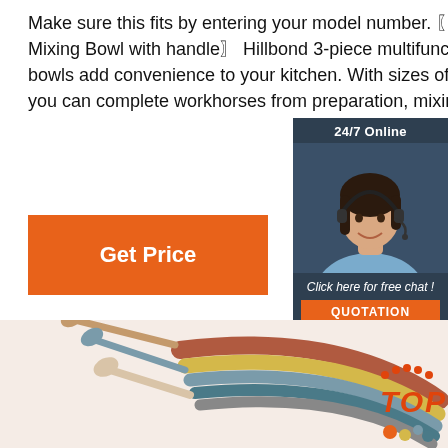Make sure this fits by entering your model number. 〖Multi-Size Mixing Bowl with handle〗 Hillbond 3-piece multifunctional mixing bowls add convenience to your kitchen. With sizes of 1.5, 3,5 Qt, you can complete workhorses from preparation, mixing t
[Figure (infographic): 24/7 Online customer support chat widget with a woman wearing a headset, 'Click here for free chat!' text, and an orange QUOTATION button, on dark navy background]
[Figure (photo): Product photo showing colorful silicone mixing bowls and spoons arranged on a light background, with an orange TOP badge in the bottom right corner]